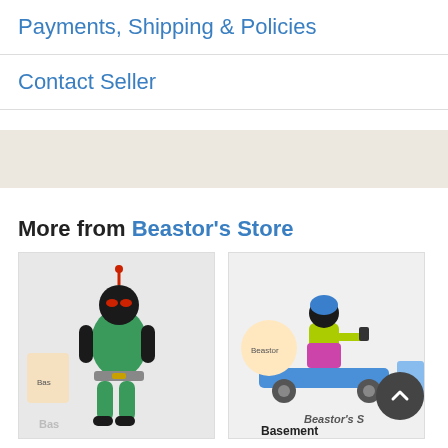Payments, Shipping & Policies
Contact Seller
More from Beastor's Store
[Figure (photo): Masked Kamen Rider action figure, black and green, posed sitting, with store branding in background]
Masked Kamen Rider B...
[Figure (photo): Kenner Savage Mondo toy vehicle with figure on skateboard-type vehicle, store branding visible]
Kenner Savage Mondo ...